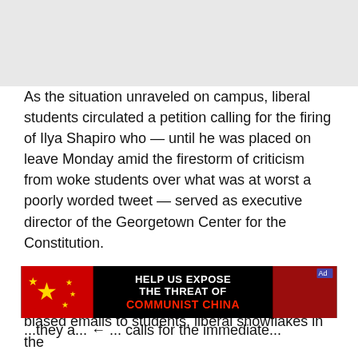[Figure (other): Gray background header area at top of page]
As the situation unraveled on campus, liberal students circulated a petition calling for the firing of Ilya Shapiro who — until he was placed on leave Monday amid the firestorm of criticism from woke students over what was at worst a poorly worded tweet — served as executive director of the Georgetown Center for the Constitution.
Escalating their intolerance in response to administrators' fealty, shown through weak and biased emails to students, liberal snowflakes in the they a...
[Figure (other): Advertisement banner: HELP US EXPOSE THE THREAT OF COMMUNIST CHINA with Chinese flag imagery and photo of Xi Jinping]